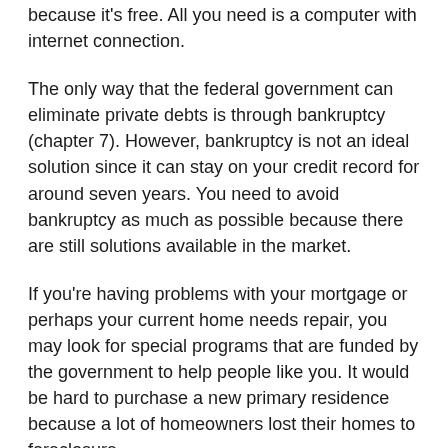because it's free. All you need is a computer with internet connection.
The only way that the federal government can eliminate private debts is through bankruptcy (chapter 7). However, bankruptcy is not an ideal solution since it can stay on your credit record for around seven years. You need to avoid bankruptcy as much as possible because there are still solutions available in the market.
If you're having problems with your mortgage or perhaps your current home needs repair, you may look for special programs that are funded by the government to help people like you. It would be hard to purchase a new primary residence because a lot of homeowners lost their homes to foreclosure.
Instead of burying yourself to more debts, you can avail of housing grants. The amount of the grants may vary, and you can get as low as 0 to M. You can check out the Housing and